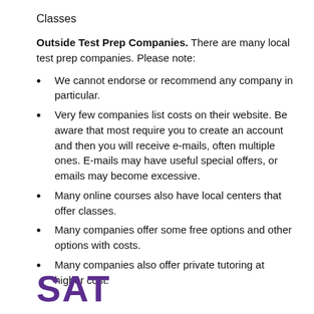Classes
Outside Test Prep Companies. There are many local test prep companies. Please note:
We cannot endorse or recommend any company in particular.
Very few companies list costs on their website. Be aware that most require you to create an account and then you will receive e-mails, often multiple ones. E-mails may have useful special offers, or emails may become excessive.
Many online courses also have local centers that offer classes.
Many companies offer some free options and other options with costs.
Many companies also offer private tutoring at higher cost.
[Figure (logo): SAT logo in purple bold text]